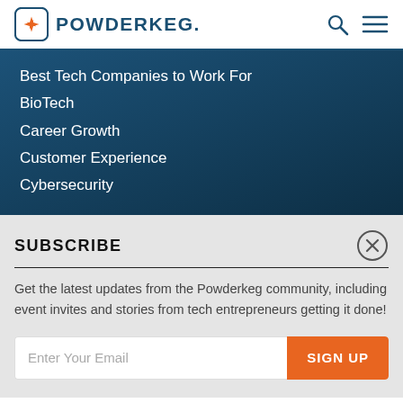POWDERKEG.
Best Tech Companies to Work For
BioTech
Career Growth
Customer Experience
Cybersecurity
SUBSCRIBE
Get the latest updates from the Powderkeg community, including event invites and stories from tech entrepreneurs getting it done!
Enter Your Email
SIGN UP